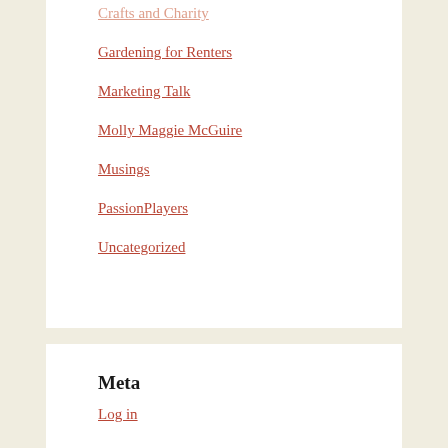Crafts and Charity
Gardening for Renters
Marketing Talk
Molly Maggie McGuire
Musings
PassionPlayers
Uncategorized
Meta
Log in